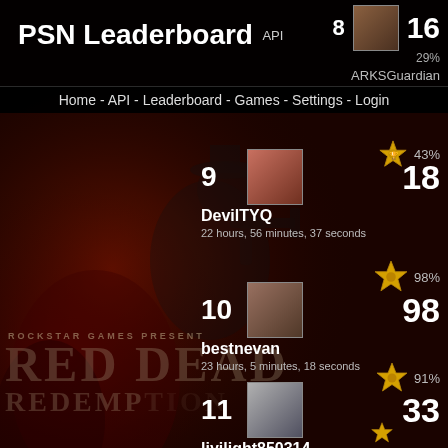PSN Leaderboard API
Home - API - Leaderboard - Games - Settings - Login
[Figure (screenshot): Red Dead Redemption game artwork background with gun silhouette and dark red/brown tones. Text: ROCKSTAR GAMES PRESENT, RED DEAD, REDEMPTION]
9   DevilTYQ   18
22 hours, 56 minutes, 37 seconds
trophy star 98%
10   bestnevan   98
23 hours, 5 minutes, 18 seconds
trophy star 91%
11   liyilight850314   33
1 day, 37 minutes, 23 seconds